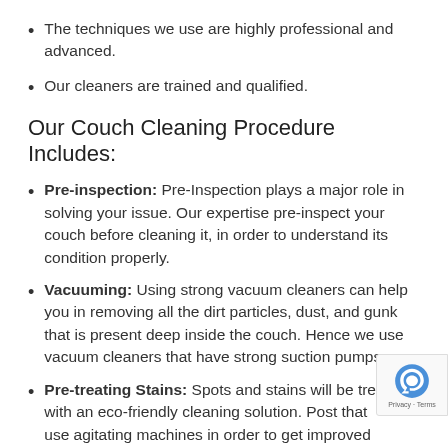The techniques we use are highly professional and advanced.
Our cleaners are trained and qualified.
Our Couch Cleaning Procedure Includes:
Pre-inspection: Pre-Inspection plays a major role in solving your issue. Our expertise pre-inspect your couch before cleaning it, in order to understand its condition properly.
Vacuuming: Using strong vacuum cleaners can help you in removing all the dirt particles, dust, and gunk that is present deep inside the couch. Hence we use vacuum cleaners that have strong suction pumps.
Pre-treating Stains: Spots and stains will be treated with an eco-friendly cleaning solution. Post that use agitating machines in order to get improved